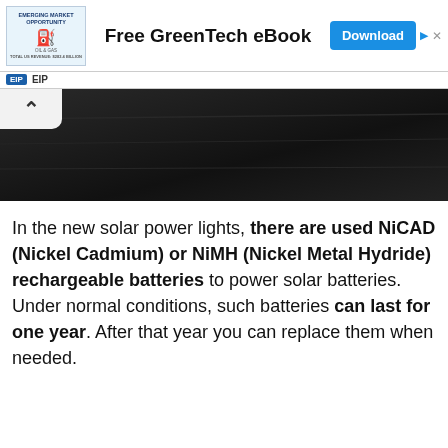[Figure (infographic): Advertisement banner: shows an oil & gas emerging market opportunity thumbnail on the left, 'Free GreenTech eBook' text in the center, and a blue 'Download' button on the right. Top right has a blue play arrow and X.]
EIP
[Figure (photo): Dark photographic image of what appears to be a solar panel or dark surface, with a white tab/chevron icon in the top-left corner.]
In the new solar power lights, there are used NiCAD (Nickel Cadmium) or NiMH (Nickel Metal Hydride) rechargeable batteries to power solar batteries. Under normal conditions, such batteries can last for one year. After that year you can replace them when needed.